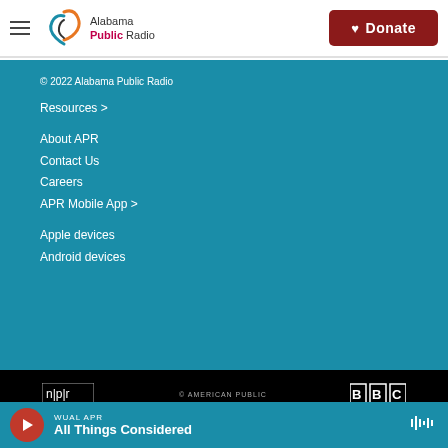Alabama Public Radio | Donate
© 2022 Alabama Public Radio
Resources >
About APR
Contact Us
Careers
APR Mobile App >
Apple devices
Android devices
[Figure (logo): NPR logo in rectangular border]
[Figure (logo): American Public Media logo text]
[Figure (logo): BBC logo in three squares]
WUAL APR — All Things Considered